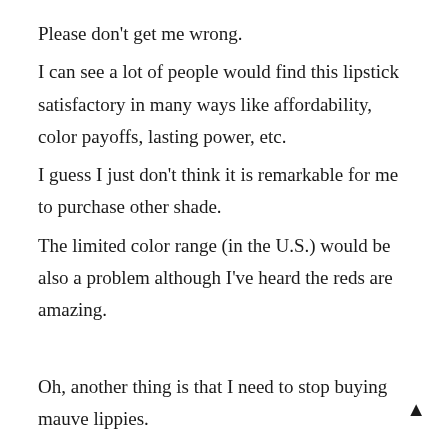Please don't get me wrong.
I can see a lot of people would find this lipstick satisfactory in many ways like affordability, color payoffs, lasting power, etc.
I guess I just don't think it is remarkable for me to purchase other shade.
The limited color range (in the U.S.) would be also a problem although I've heard the reds are amazing.
Oh, another thing is that I need to stop buying mauve lippies.
True I have a thing for the color "mauve" (Once a guy asked me, "What color would your pony be?" saying it